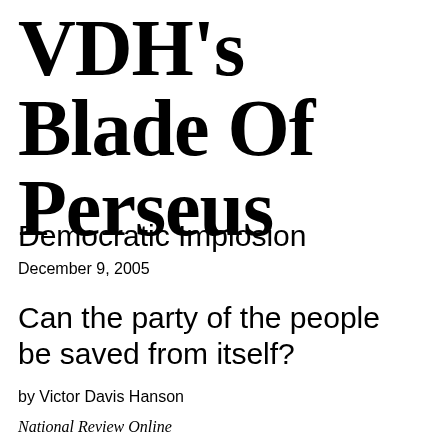VDH's Blade Of Perseus
Democratic Implosion
December 9, 2005
Can the party of the people be saved from itself?
by Victor Davis Hanson
National Review Online